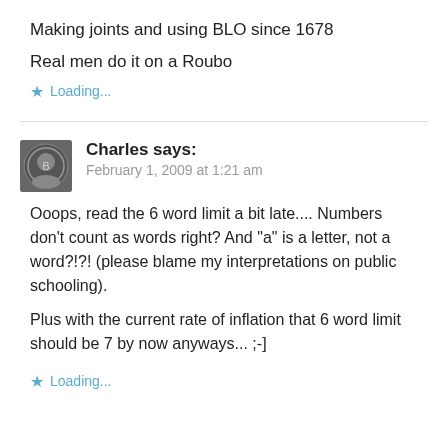Making joints and using BLO since 1678
Real men do it on a Roubo
Loading...
Charles says:
February 1, 2009 at 1:21 am
Ooops, read the 6 word limit a bit late.... Numbers don’t count as words right? And "a" is a letter, not a word?!?! (please blame my interpretations on public schooling).
Plus with the current rate of inflation that 6 word limit should be 7 by now anyways... ;-]
Loading...